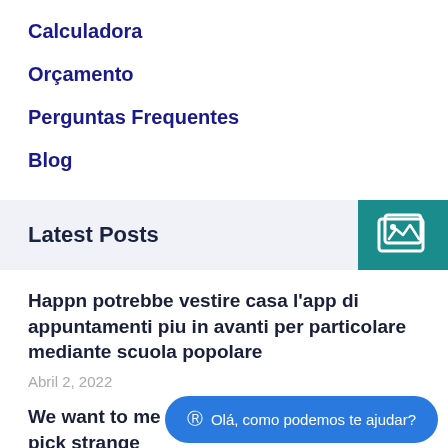Calculadora
Orçamento
Perguntas Frequentes
Blog
Latest Posts
Happn potrebbe vestire casa l'app di appuntamenti piu in avanti per particolare mediante scuola popolare
Abril 2, 2022
We want to me... intercourse, pa... pick strange
Olá, como podemos te ajudar?